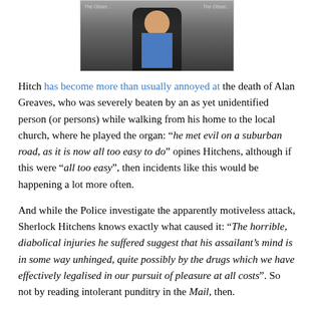[Figure (photo): Photo of a man in a dark jacket and blue shirt with a tie, standing in front of a backdrop with text 'The Observer']
Hitch has become more than usually annoyed at the death of Alan Greaves, who was severely beaten by an as yet unidentified person (or persons) while walking from his home to the local church, where he played the organ: “he met evil on a suburban road, as it is now all too easy to do” opines Hitchens, although if this were “all too easy”, then incidents like this would be happening a lot more often.
And while the Police investigate the apparently motiveless attack, Sherlock Hitchens knows exactly what caused it: “The horrible, diabolical injuries he suffered suggest that his assailant’s mind is in some way unhinged, quite possibly by the drugs which we have effectively legalised in our pursuit of pleasure at all costs”. So not by reading intolerant punditry in the Mail, then.
In any case, Hitch wants you to “look over there”: “Those who pontificated grandiosely about a school massacre in America will see no lesson in this, because it does not suit their views”. This informs the discussion not at all,